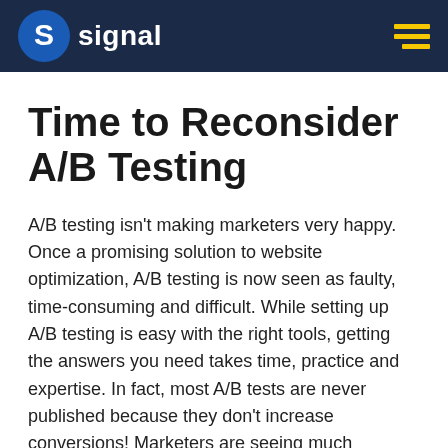signal
Time to Reconsider A/B Testing
A/B testing isn't making marketers very happy. Once a promising solution to website optimization, A/B testing is now seen as faulty, time-consuming and difficult. While setting up A/B testing is easy with the right tools, getting the answers you need takes time, practice and expertise. In fact, most A/B tests are never published because they don't increase conversions! Marketers are seeing much